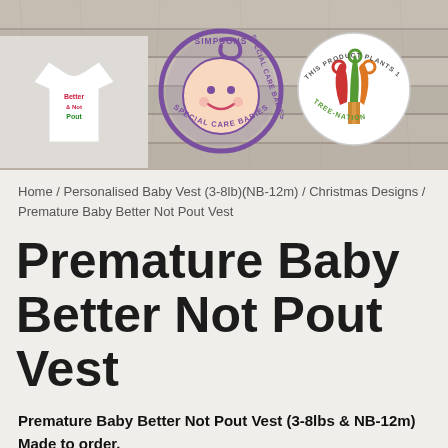[Figure (photo): Header area showing a baby vest on wooden background, Simpsons Special Care Babies logo (purple circle with baby face), and This Product Plants 1 Tree / Tree-Nation logo (colorful tree)]
Home / Personalised Baby Vest (3-8lb)(NB-12m) / Christmas Designs / Premature Baby Better Not Pout Vest
Premature Baby Better Not Pout Vest
Premature Baby Better Not Pout Vest (3-8lbs & NB-12m) Made to order.
Brand – Cribbs & Co.